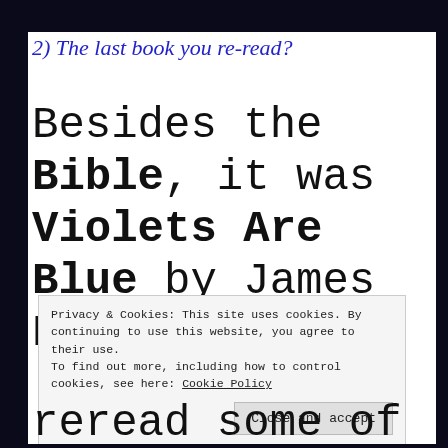2) The last book you re-read?
Besides the Bible, it was Violets Are Blue by James Patterson in
Privacy & Cookies: This site uses cookies. By continuing to use this website, you agree to their use.
To find out more, including how to control cookies, see here: Cookie Policy
Close and accept
reread some of my